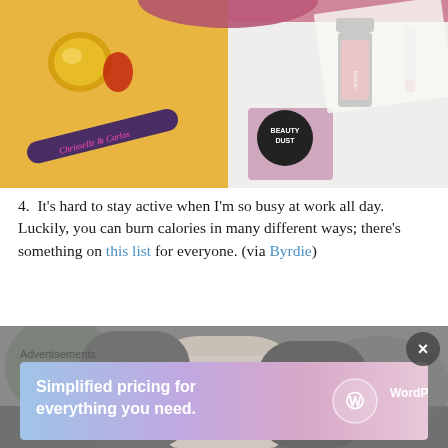[Figure (photo): Flat-lay photo of beauty products on yellow and white background: nail file, gold jar, nail polish bottle, lip gloss, Beauty Dust packet]
4.  It’s hard to stay active when I’m so busy at work all day.  Luckily, you can burn calories in many different ways; there’s something on this list for everyone. (via Byrdie)
[Figure (photo): Grayscale photo of a woman wearing a grey knit cardigan and a delicate necklace, shot from the neck/chest area]
Advertisements
[Figure (screenshot): WordPress.com advertisement banner: 'Simplified pricing for everything you need.' with WordPress.com logo on gradient purple-pink background]